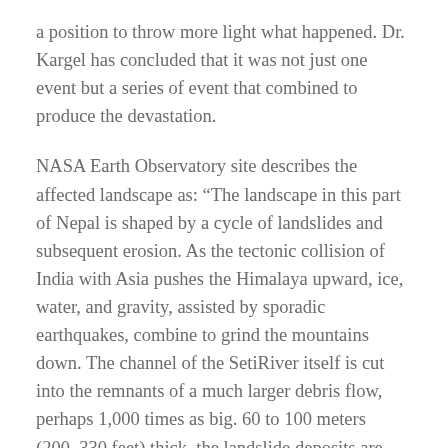a position to throw more light what happened. Dr. Kargel has concluded that it was not just one event but a series of event that combined to produce the devastation.
NASA Earth Observatory site describes the affected landscape as: “The landscape in this part of Nepal is shaped by a cycle of landslides and subsequent erosion. As the tectonic collision of India with Asia pushes the Himalaya upward, ice, water, and gravity, assisted by sporadic earthquakes, combine to grind the mountains down. The channel of the SetiRiver itself is cut into the remnants of a much larger debris flow, perhaps 1,000 times as big. 60 to 100 meters (200–330 feet) thick, the landslide deposits are composed of the same limestone as the peaks to the north. Likewise, the May 2012 flow left behind jagged fragments of limestone, carried from the crest of the Himalaya to the foothills in a single event.”